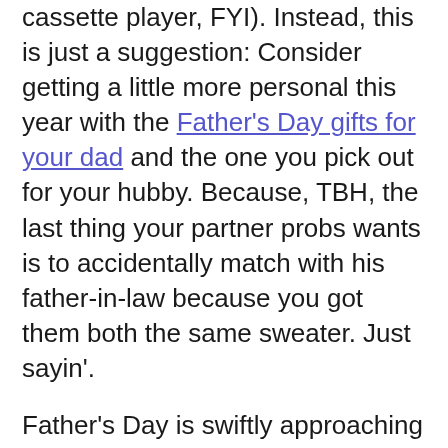cassette player, FYI). Instead, this is just a suggestion: Consider getting a little more personal this year with the Father's Day gifts for your dad and the one you pick out for your hubby. Because, TBH, the last thing your partner probs wants is to accidentally match with his father-in-law because you got them both the same sweater. Just sayin'.
Father's Day is swiftly approaching (ahem, June 19th!!), so I'd highly recommend getting on your gift shopping by having a look at the selects below—especially if you're a fellow procrastinator, like yours truly. And if you're having trouble with being more personable or aren't sure where to start, don't you worry because we got ya covered. There's something here for him, from experience and getaway gifts to